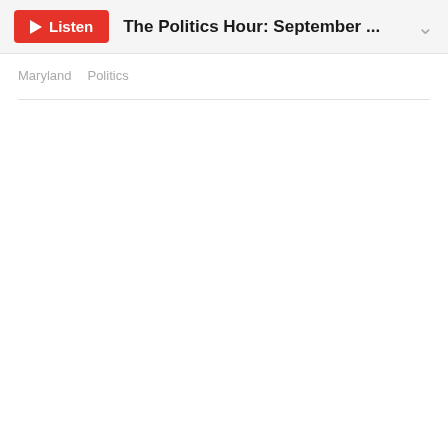Listen | The Politics Hour: September ... ▾
Maryland   Politics
[Figure (screenshot): Advertisement banner with blue background reading 'Great minds think, alike or otherwise']